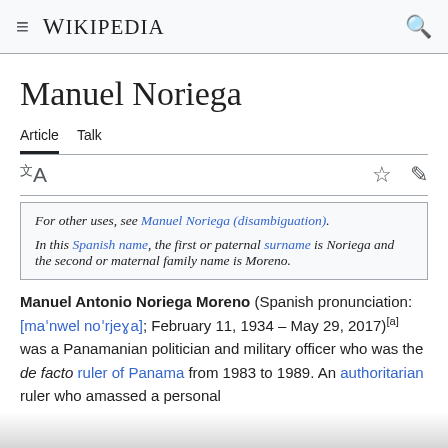≡ WIKIPEDIA 🔍
Manuel Noriega
Article  Talk
For other uses, see Manuel Noriega (disambiguation).
In this Spanish name, the first or paternal surname is Noriega and the second or maternal family name is Moreno.
Manuel Antonio Noriega Moreno (Spanish pronunciation: [maˈnwel noˈrjeɣa]; February 11, 1934 – May 29, 2017)[a] was a Panamanian politician and military officer who was the de facto ruler of Panama from 1983 to 1989. An authoritarian ruler who amassed a personal